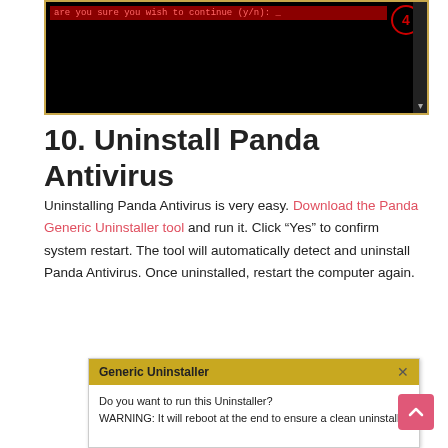[Figure (screenshot): Terminal window showing a command prompt with text 'are you sure you wish to continue (y/n): _' on a dark red background, with a red circled number 4 in the top right.]
10. Uninstall Panda Antivirus
Uninstalling Panda Antivirus is very easy. Download the Panda Generic Uninstaller tool and run it. Click “Yes” to confirm system restart. The tool will automatically detect and uninstall Panda Antivirus. Once uninstalled, restart the computer again.
[Figure (screenshot): Generic Uninstaller dialog box with golden title bar showing 'Generic Uninstaller' and an X close button, and body text reading 'Do you want to run this Uninstaller? WARNING: It will reboot at the end to ensure a clean uninstall']